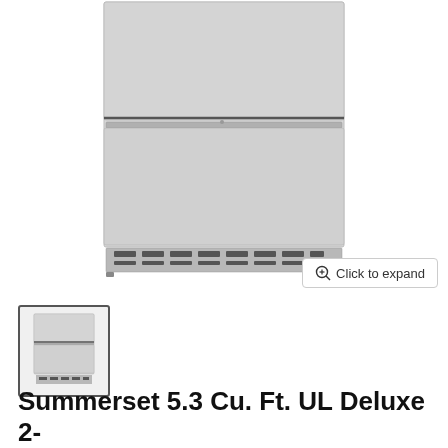[Figure (photo): Front view of a stainless steel Summerset 2-drawer outdoor refrigerator unit showing two drawers and ventilation grille at the bottom]
[Figure (photo): Small thumbnail image of the same Summerset outdoor refrigerator unit]
Summerset 5.3 Cu. Ft. UL Deluxe 2-